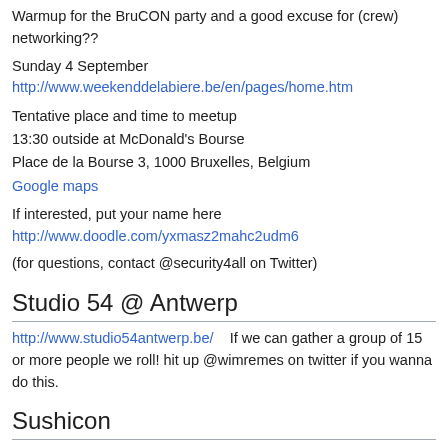Warmup for the BruCON party and a good excuse for (crew) networking??
Sunday 4 September http://www.weekenddelabiere.be/en/pages/home.htm
Tentative place and time to meetup
13:30 outside at McDonald's Bourse
Place de la Bourse 3, 1000 Bruxelles, Belgium
Google maps
If interested, put your name here http://www.doodle.com/yxmasz2mahc2udm6
(for questions, contact @security4all on Twitter)
Studio 54 @ Antwerp
http://www.studio54antwerp.be/    If we can gather a group of 15 or more people we roll! hit up @wimremes on twitter if you wanna do this.
Sushicon
BruCON pre-conference dinner and get together....19:00 for some Japanese food noodles, etc...), just join us)
Location: Brussels (details to follow depending in # of participants) Date: Sunday
Then afterward 20:00-21:00 we'll head out for drinks (possibly different bars sta
Register here.... (limited) reservation will be made so it's first come first server